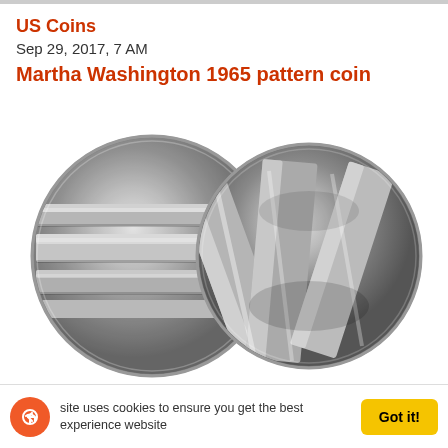US Coins
Sep 29, 2017, 7 AM
Martha Washington 1965 pattern coin
[Figure (photo): Two silver coins side by side — waffle-cancelled/pattern coin specimens photographed close up, showing horizontal ridged marks on left coin and angular strike marks on right coin]
US Coins
Oct 14, 2018, 7 AM
Waffle-cancelled quarter strike in collector hands
site uses cookies to ensure you get the best experience website